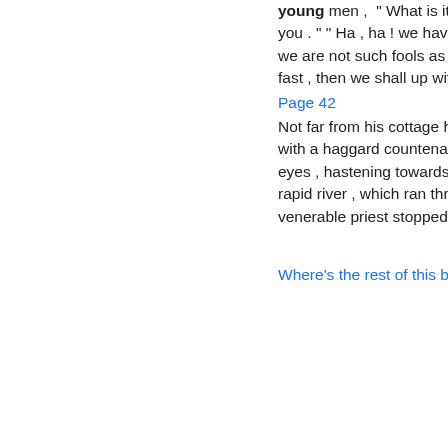young men , " What is it ? " " The rapids are below you . " " Ha , ha ! we have heard of the rapids , but we are not such fools as to get there . If we go too fast , then we shall up with ...
Page 42
Not far from his cottage he saw a young soldier , with a haggard countenance and wild bloodshot eyes , hastening towards the bank of a deep and rapid river , which ran through the fields . The venerable priest stopped him , and spoke to ...
Next »
Where's the rest of this book?